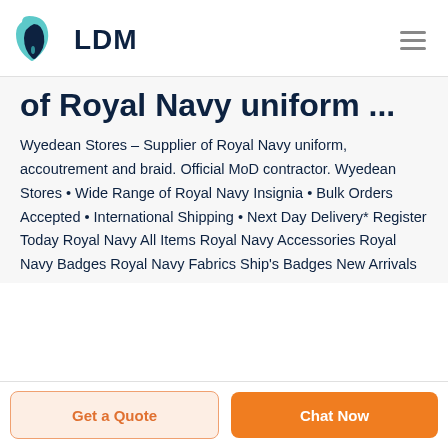LDM
of Royal Navy uniform ...
Wyedean Stores – Supplier of Royal Navy uniform, accoutrement and braid. Official MoD contractor. Wyedean Stores • Wide Range of Royal Navy Insignia • Bulk Orders Accepted • International Shipping • Next Day Delivery* Register Today Royal Navy All Items Royal Navy Accessories Royal Navy Badges Royal Navy Fabrics Ship's Badges New Arrivals
Get a Quote | Chat Now